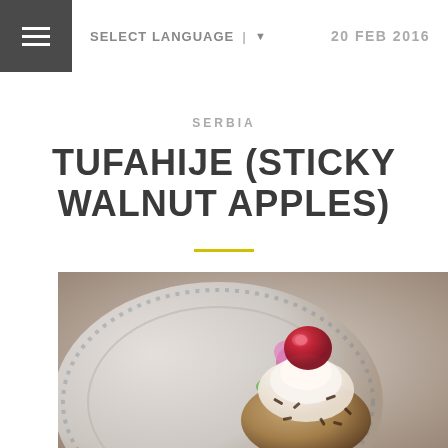SELECT LANGUAGE ▼   20 FEB 2016
SERBIA
TUFAHIJE (STICKY WALNUT APPLES)
[Figure (photo): A dessert photo showing a sticky walnut apple (Tufahija) topped with a red glazed cherry, whipped cream, and chocolate sprinkles, served on a decorative floral plate.]